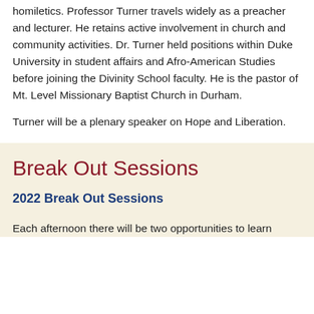homiletics. Professor Turner travels widely as a preacher and lecturer. He retains active involvement in church and community activities. Dr. Turner held positions within Duke University in student affairs and Afro-American Studies before joining the Divinity School faculty. He is the pastor of Mt. Level Missionary Baptist Church in Durham.
Turner will be a plenary speaker on Hope and Liberation.
Break Out Sessions
2022 Break Out Sessions
Each afternoon there will be two opportunities to learn